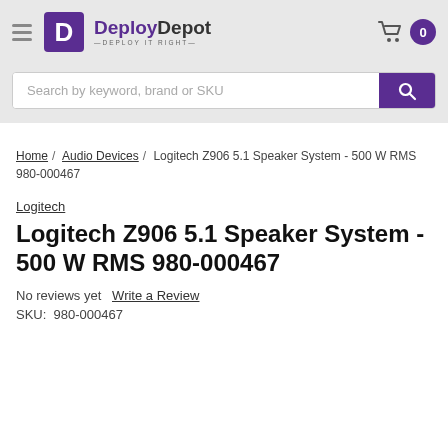[Figure (logo): DeployDepot logo with purple D icon and tagline DEPLOY IT RIGHT]
Search by keyword, brand or SKU
Home / Audio Devices / Logitech Z906 5.1 Speaker System - 500 W RMS 980-000467
Logitech
Logitech Z906 5.1 Speaker System - 500 W RMS 980-000467
No reviews yet   Write a Review
SKU:  980-000467